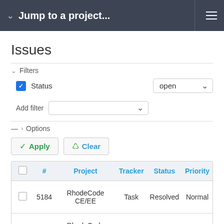Jump to a project...
Issues
Filters
Status  open
Add filter
Options
Apply  Clear
|  | # | Project | Tracker | Status | Priority |
| --- | --- | --- | --- | --- | --- |
|  | 5184 | RhodeCode CE/EE | Task | Resolved | Normal |
|  | 5164 | RhodeCode CE/EE | Bug | Resolved | Normal |